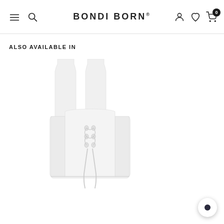BONDI BORN
ALSO AVAILABLE IN
[Figure (photo): White linen sleeveless top with wide straps and lace-up front tie detail, shown from the front on a white background]